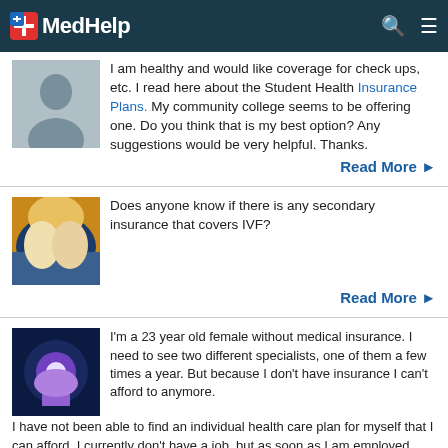MedHelp
I am healthy and would like coverage for check ups, etc. I read here about the Student Health Insurance Plans. My community college seems to be offering one. Do you think that is my best option? Any suggestions would be very helpful. Thanks.
Read More
Does anyone know if there is any secondary insurance that covers IVF?
Read More
I'm a 23 year old female without medical insurance. I need to see two different specialists, one of them a few times a year. But because I don't have insurance I can't afford to anymore. I have not been able to find an individual health care plan for myself that I can afford. I currently don't have a job, but as soon as I am employed medical insurance is one of the things I'll be getting. Can anyone guide me in a direction so I can find some health care plans that suit me?
Read More